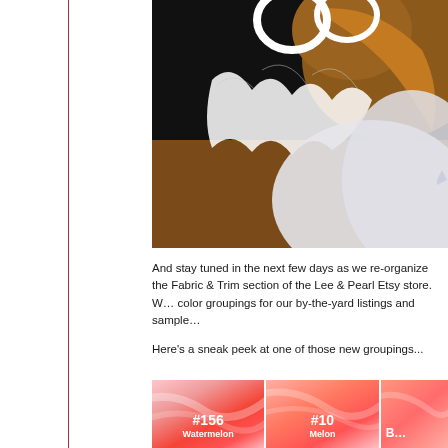[Figure (photo): Close-up photograph of a stuffed animal or costume piece — brown fur with white tulle/netting ruffles against a dark background]
And stay tuned in the next few days as we re-organize the Fabric & Trim section of the Lee & Pearl Etsy store. We're adding color groupings for our by-the-yard listings and sample cards.
Here's a sneak peek at one of those new groupings...
[Figure (photo): Three fabric swatches showing shades of pink/melon tulle or fabric. Left swatch labeled #156 Watermelon, middle swatch labeled #10 Melon, right swatch partially visible.]